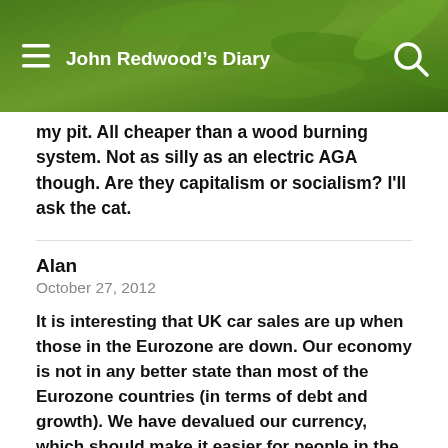John Redwood's Diary
my pit. All cheaper than a wood burning system. Not as silly as an electric AGA though. Are they capitalism or socialism? I'll ask the cat.
Alan
October 27, 2012
It is interesting that UK car sales are up when those in the Eurozone are down. Our economy is not in any better state than most of the Eurozone countries (in terms of debt and growth). We have devalued our currency, which should make it easier for people in the Eurozone to buy our products but does not make it easier for people in the UK to buy them, so you would expect us to export more and for less to go to